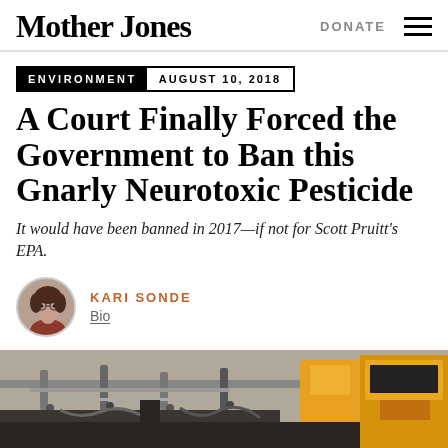Mother Jones
ENVIRONMENT  AUGUST 10, 2018
A Court Finally Forced the Government to Ban this Gnarly Neurotoxic Pesticide
It would have been banned in 2017—if not for Scott Pruitt's EPA.
KARI SONDE
Bio
[Figure (photo): Agricultural machinery, close-up of sprayer equipment with metal tubes, yellow tractor in background]